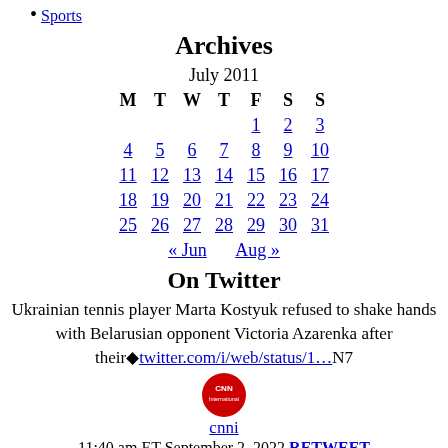Sports
Archives
| M | T | W | T | F | S | S |
| --- | --- | --- | --- | --- | --- | --- |
|  |  |  |  | 1 | 2 | 3 |
| 4 | 5 | 6 | 7 | 8 | 9 | 10 |
| 11 | 12 | 13 | 14 | 15 | 16 | 17 |
| 18 | 19 | 20 | 21 | 22 | 23 | 24 |
| 25 | 26 | 27 | 28 | 29 | 30 | 31 |
« Jun   Aug »
On Twitter
Ukrainian tennis player Marta Kostyuk refused to shake hands with Belarusian opponent Victoria Azarenka after their◆twitter.com/i/web/status/1...N7
cnni
11:40 am ET September 2, 2022 RETWEET
#Ukraine says it's charged one of the #Russian soldiers responsible for shooting civilians in the back.